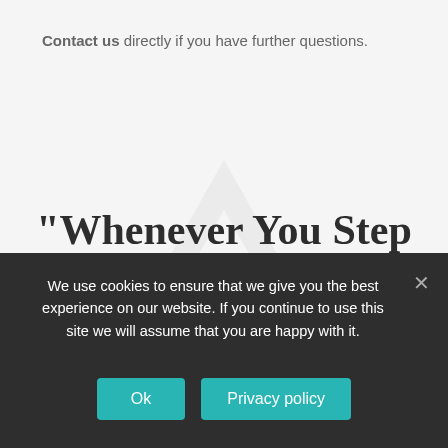Contact us directly if you have further questions.
"Whenever You Step Out Of The Noise Of Thinking, That Is Meditation, And A Different State Of Consciousness Arises"
We use cookies to ensure that we give you the best experience on our website. If you continue to use this site we will assume that you are happy with it.